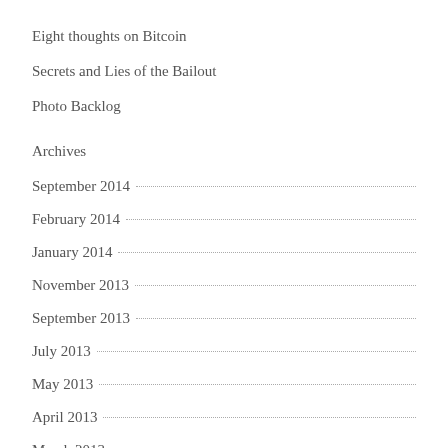Eight thoughts on Bitcoin
Secrets and Lies of the Bailout
Photo Backlog
Archives
September 2014
February 2014
January 2014
November 2013
September 2013
July 2013
May 2013
April 2013
March 2013